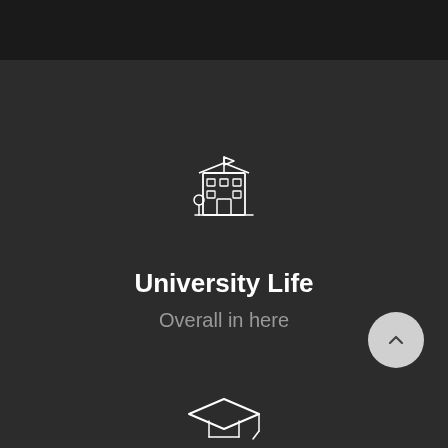[Figure (illustration): White line-art icon of a university/school building with a flag on top, windows, door, and a small tree beside it]
University Life
Overall in here
[Figure (illustration): White line-art icon of a graduation cap, partially visible at bottom of page]
[Figure (other): Light gray circular button with an upward chevron arrow]